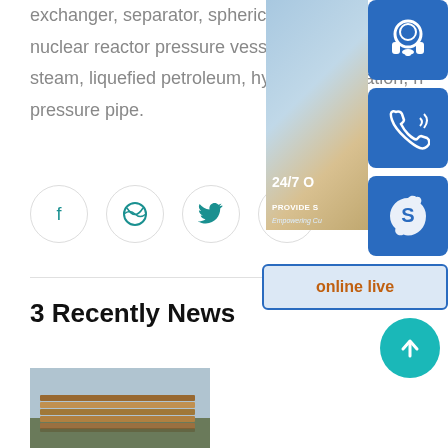exchanger, separator, spherical tank, liquefied gas, nuclear reactor pressure vessel, boiler steam drum steam, liquefied petroleum, hydropower station, high pressure pipe.
[Figure (infographic): Social share icons: Facebook, Dribbble, Twitter, Google+]
[Figure (infographic): 24/7 customer support overlay panel with headset icon, phone icon, Skype icon, and 'online live' button, plus scroll-to-top button]
3 Recently News
[Figure (photo): Thumbnail image of stacked steel plates outdoors]